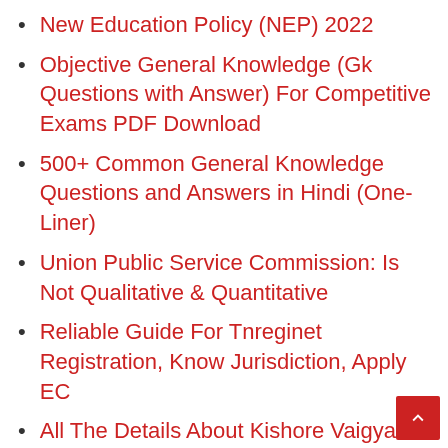New Education Policy (NEP) 2022
Objective General Knowledge (Gk Questions with Answer) For Competitive Exams PDF Download
500+ Common General Knowledge Questions and Answers in Hindi (One-Liner)
Union Public Service Commission: Is Not Qualitative & Quantitative
Reliable Guide For Tnreginet Registration, Know Jurisdiction, Apply EC
All The Details About Kishore Vaigyanik Protsahan Yojana (KVPY)!